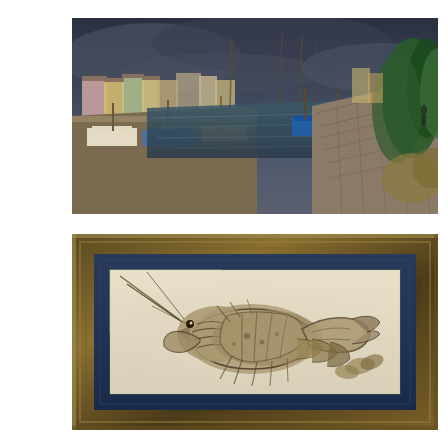[Figure (photo): HDR photograph of a harbour or canal with boats moored along stone quays, cobblestone path on the right, colourful terraced houses in the background, overcast dramatic sky, lush green vegetation on the right bank.]
[Figure (photo): Close-up photograph of a framed artwork or specimen — a detailed illustration or taxidermy display of a lobster, shown in a dark ornate gilded frame with blue matting, illuminated against a pale background.]